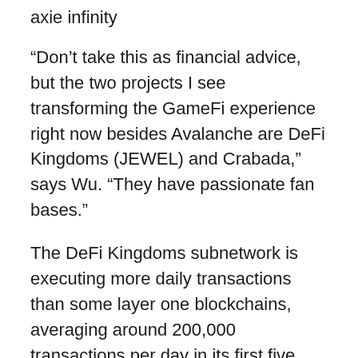axie infinity
“Don’t take this as financial advice, but the two projects I see transforming the GameFi experience right now besides Avalanche are DeFi Kingdoms (JEWEL) and Crabada,” says Wu. “They have passionate fan bases.”
The DeFi Kingdoms subnetwork is executing more daily transactions than some layer one blockchains, averaging around 200,000 transactions per day in its first five weeks of being in business. Crabada’s subnetwork, Swimmer Network, is coming soon, which could give investors a reason to consider CRA.
Over the past year, GameFi has grown by roughly 2,000%, according to DappRadar. In the first quarter of this year, before the Ukraine war and inflation caused market sell-offs, blockchain games raised some $2.5 billion in venture